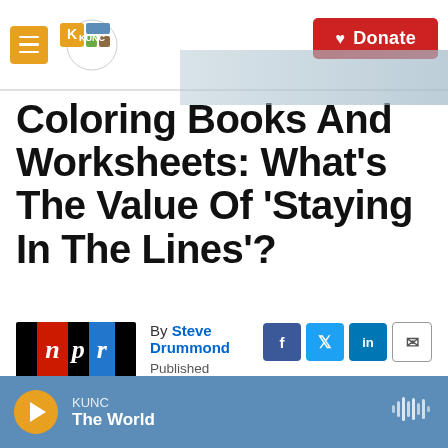KUNC | Donate
Coloring Books And Worksheets: What's The Value Of 'Staying In The Lines'?
By Steve Drummond
Published August 30, 2018 at 4:04 AM MDT
KUNC The World